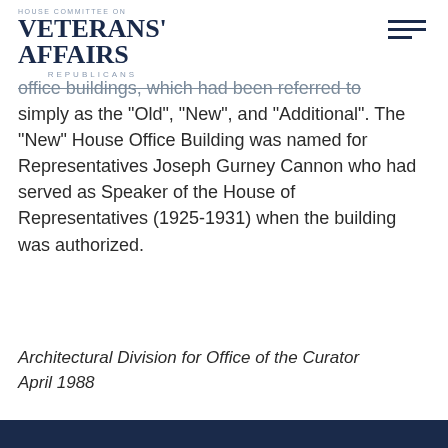HOUSE COMMITTEE ON VETERANS' AFFAIRS REPUBLICANS
office buildings, which had been referred to simply as the "Old", "New", and "Additional". The "New" House Office Building was named for Representatives Joseph Gurney Cannon who had served as Speaker of the House of Representatives (1925-1931) when the building was authorized.
Architectural Division for Office of the Curator April 1988